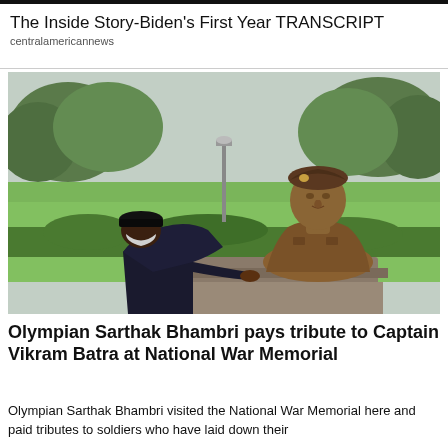The Inside Story-Biden's First Year TRANSCRIPT
centralamericannews
[Figure (photo): A person wearing a mask and dark clothing bows respectfully in front of a bronze bust of a military officer in uniform, set in an outdoor memorial with green grass and trees in the background.]
Olympian Sarthak Bhambri pays tribute to Captain Vikram Batra at National War Memorial
Olympian Sarthak Bhambri visited the National War Memorial here and paid tributes to soldiers who have laid down their